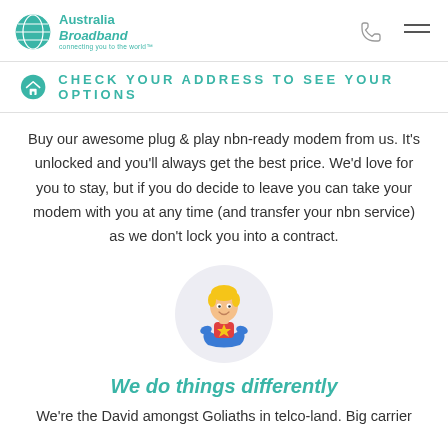Australia Broadband — connecting you to the world
Check your address to see your options
Buy our awesome plug & play nbn-ready modem from us. It's unlocked and you'll always get the best price. We'd love for you to stay, but if you do decide to leave you can take your modem with you at any time (and transfer your nbn service) as we don't lock you into a contract.
[Figure (illustration): Cartoon superhero character icon inside a light grey circle]
We do things differently
We're the David amongst Goliaths in telco-land. Big carrier